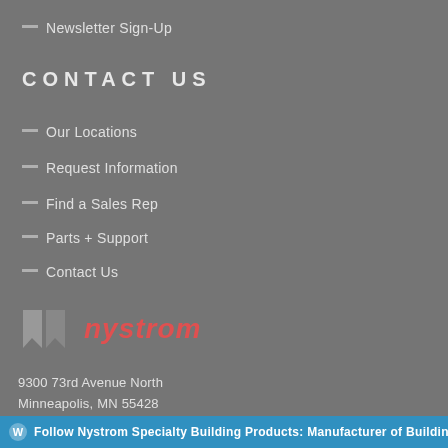Newsletter Sign-Up
CONTACT US
Our Locations
Request Information
Find a Sales Rep
Parts + Support
Contact Us
[Figure (logo): Nystrom company logo with two angular bookmark-like icons in gray and the word 'nystrom' in red italic text]
9300 73rd Avenue North
Minneapolis, MN 55428
1.800.547.2635
Follow Nystrom Specialty Building Products: Manufacturer of Building Produ